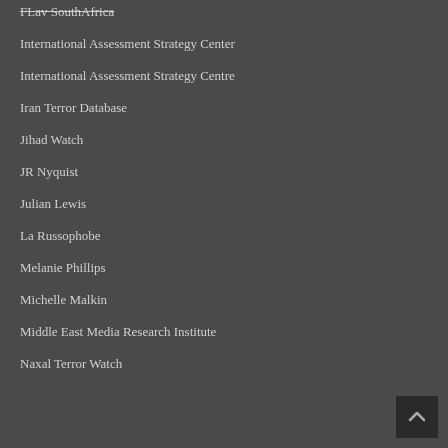FLav SouthAfrica
International Assessment Strategy Center
International Assessment Strategy Centre
Iran Terror Database
Jihad Watch
JR Nyquist
Julian Lewis
La Russophobe
Melanie Phillips
Michelle Malkin
Middle East Media Research Institute
Naxal Terror Watch